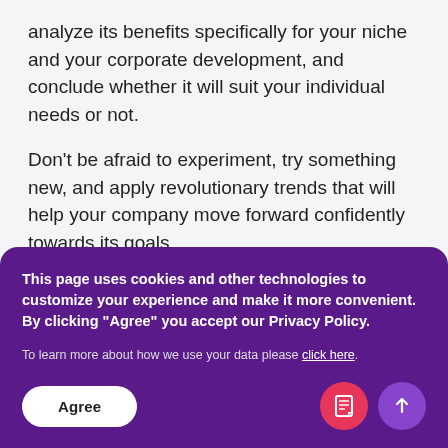analyze its benefits specifically for your niche and your corporate development, and conclude whether it will suit your individual needs or not.
Don't be afraid to experiment, try something new, and apply revolutionary trends that will help your company move forward confidently towards its goals.
This page uses cookies and other technologies to customize your experience and make it more convenient. By clicking "Agree" you accept our Privacy Policy.
To learn more about how we use your data please click here.